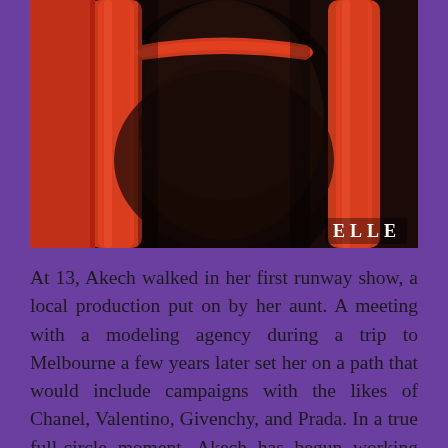[Figure (photo): Close-up fashion photo of a dark-skinned torso wearing bright red/orange leather straps, possibly a bag or harness, against a dark background. ELLE magazine logo visible in bottom right corner of the image.]
At 13, Akech walked in her first runway show, a local production put on by her aunt. A meeting with a modeling agency during a trip to Melbourne a few years later set her on a path that would include campaigns with the likes of Chanel, Valentino, Givenchy, and Prada. In a true full-circle moment, Akech has begun working with the United Nations High Commissioner for Refugees—the very agency that...